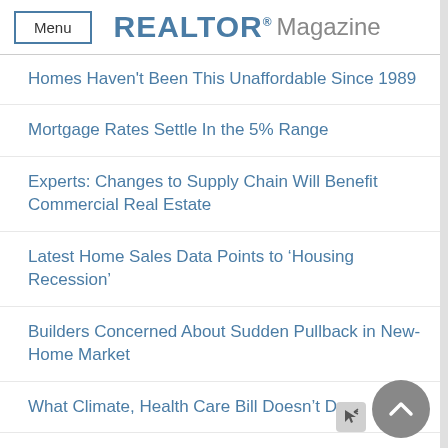Menu | REALTOR® Magazine
Homes Haven't Been This Unaffordable Since 1989
Mortgage Rates Settle In the 5% Range
Experts: Changes to Supply Chain Will Benefit Commercial Real Estate
Latest Home Sales Data Points to 'Housing Recession'
Builders Concerned About Sudden Pullback in New-Home Market
What Climate, Health Care Bill Doesn't Do
10 Most Affordable Lake Towns
Mortgage Rates Rocket Back Above 5%, But Market 'Stabilizing'